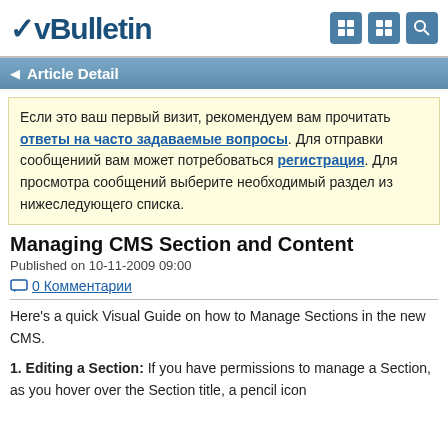vBulletin
Article Detail
Если это ваш первый визит, рекомендуем вам прочитать ответы на часто задаваемые вопросы. Для отправки сообщениий вам может потребоваться регистрация. Для просмотра сообщений выберите необходимый раздел из нижеследующего списка.
Managing CMS Section and Content
Published on 10-11-2009 09:00
0 Комментарии
Here's a quick Visual Guide on how to Manage Sections in the new CMS.
1. Editing a Section: If you have permissions to manage a Section, as you hover over the Section title, a pencil icon will display.